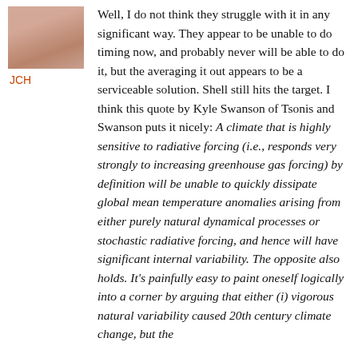[Figure (photo): Small avatar photo of a person, partially visible, showing fingers/hand area with blurred background]
JCH
Well, I do not think they struggle with it in any significant way. They appear to be unable to do timing now, and probably never will be able to do it, but the averaging it out appears to be a serviceable solution. Shell still hits the target. I think this quote by Kyle Swanson of Tsonis and Swanson puts it nicely: A climate that is highly sensitive to radiative forcing (i.e., responds very strongly to increasing greenhouse gas forcing) by definition will be unable to quickly dissipate global mean temperature anomalies arising from either purely natural dynamical processes or stochastic radiative forcing, and hence will have significant internal variability. The opposite also holds. It’s painfully easy to paint oneself logically into a corner by arguing that either (i) vigorous natural variability caused 20th century climate change, but the